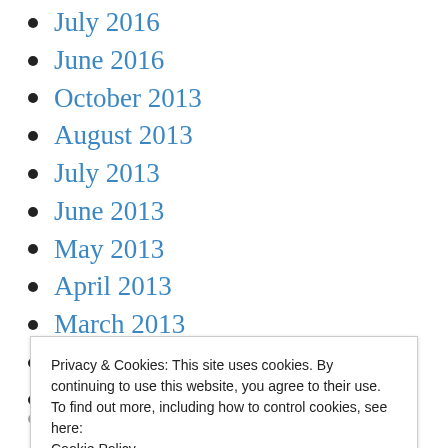July 2016
June 2016
October 2013
August 2013
July 2013
June 2013
May 2013
April 2013
March 2013
February 2013
January 2013
Privacy & Cookies: This site uses cookies. By continuing to use this website, you agree to their use.
To find out more, including how to control cookies, see here:
Cookie Policy
Close and accept